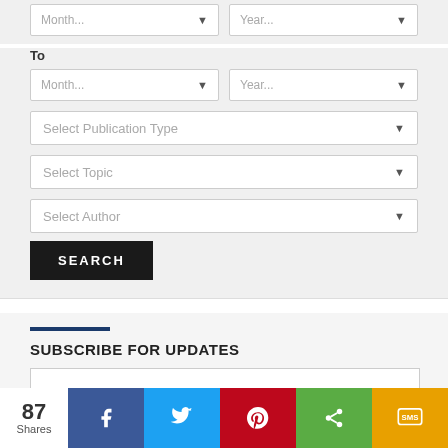[Figure (screenshot): Partial view of two dropdown selects for Month and Year at top of filter panel]
To
[Figure (screenshot): Two dropdown selects for Month and Year in the To row]
[Figure (screenshot): Dropdown select: Select Publication Type]
[Figure (screenshot): Dropdown select: Select Topic]
[Figure (screenshot): Dropdown select: Select Author]
[Figure (screenshot): SEARCH button]
SUBSCRIBE FOR UPDATES
[Figure (screenshot): Social share bar with 87 Shares, Facebook, Twitter, Pinterest, Share, SMS buttons]